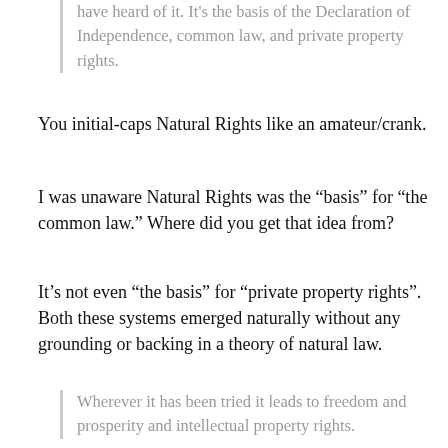have heard of it. It’s the basis of the Declaration of Independence, common law, and private property rights.
You initial-caps Natural Rights like an amateur/crank.
I was unaware Natural Rights was the “basis” for “the common law.” Where did you get that idea from?
It’s not even “the basis” for “private property rights”. Both these systems emerged naturally without any grounding or backing in a theory of natural law.
Wherever it has been tried it leads to freedom and prosperity and intellectual property rights.
This is so confused. First you talk about natural rights, which is deontological, and then right away switch to empirical data…. And further down you talk about IP law as a protectionist tool...